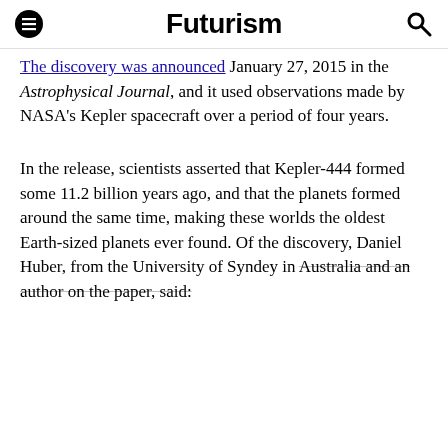Futurism
The discovery was announced January 27, 2015 in the Astrophysical Journal, and it used observations made by NASA's Kepler spacecraft over a period of four years.
In the release, scientists asserted that Kepler-444 formed some 11.2 billion years ago, and that the planets formed around the same time, making these worlds the oldest Earth-sized planets ever found. Of the discovery, Daniel Huber, from the University of Syndey in Australia and an author on the paper, said: